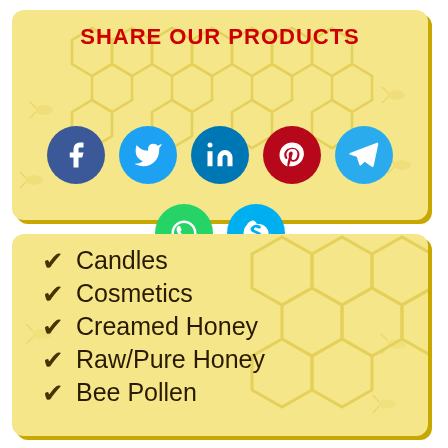SHARE OUR PRODUCTS
[Figure (infographic): Social media share buttons: Facebook (dark blue), Twitter (light blue), LinkedIn (blue), Pinterest (dark red), Telegram (light blue), WhatsApp (green), Skype (cyan)]
Candles
Cosmetics
Creamed Honey
Raw/Pure Honey
Bee Pollen